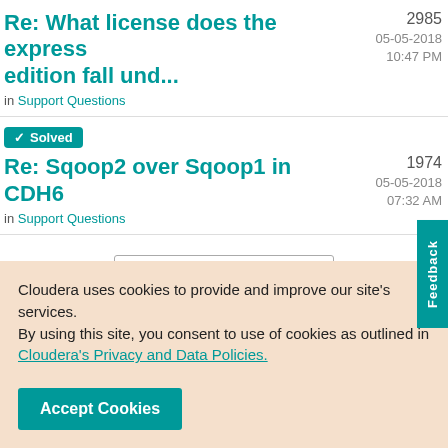Re: What license does the express edition fall und...
2985  05-05-2018  10:47 PM
in Support Questions
✓ Solved
Re: Sqoop2 over Sqoop1 in CDH6
1974  05-05-2018  07:32 AM
in Support Questions
Show All
Cloudera uses cookies to provide and improve our site's services. By using this site, you consent to use of cookies as outlined in Cloudera's Privacy and Data Policies.
Accept Cookies